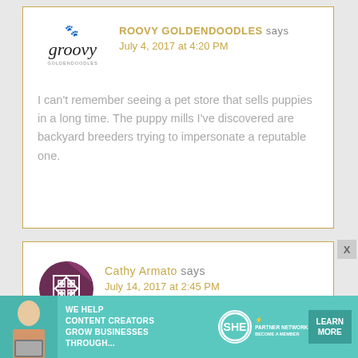[Figure (logo): Groovy Goldendoodles logo with paw print and cursive text]
ROOVY GOLDENDOODLES says
July 4, 2017 at 4:20 PM
I can't remember seeing a pet store that sells puppies in a long time. The puppy mills I've discovered are backyard breeders trying to impersonate a reputable one.
[Figure (logo): Cathy Armato avatar - circular purple geometric pattern logo]
Cathy Armato says
July 14, 2017 at 2:45 PM
This is a great post, thanks for sharing these
[Figure (infographic): SHE Partner Network advertisement banner: WE HELP CONTENT CREATORS GROW BUSINESSES THROUGH... with LEARN MORE button]